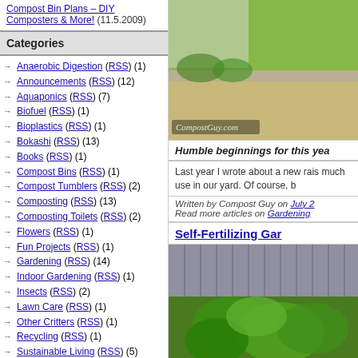Compost Bin Plans – DIY Composters & More! (11.5.2009)
Categories
Anaerobic Digestion (RSS) (1)
Announcements (RSS) (12)
Aquaponics (RSS) (7)
Biofuel (RSS) (1)
Bioplastics (RSS) (1)
Bokashi (RSS) (13)
Books (RSS) (1)
Compost Bins (RSS) (1)
Compost Tumblers (RSS) (2)
Composting (RSS) (13)
Composting Toilets (RSS) (2)
Flowers (RSS) (1)
Fun Projects (RSS) (1)
Gardening (RSS) (14)
Indoor Gardening (RSS) (1)
Insects (RSS) (2)
Lawn Care (RSS) (1)
Other Critters (RSS) (1)
Recycling (RSS) (1)
Sustainable Living (RSS) (5)
Urban Farming (RSS) (7)
Videos (RSS) (7)
Waste to Resource (RSS) (1)
Winter Composting (RSS) (10)
Worm Composting (RSS) (19)
[Figure (photo): Garden raised bed with compost and grass border, CompostGuy.com watermark]
Humble beginnings for this yea
Last year I wrote about a new rais much use in our yard. Of course, b
Written by Compost Guy on July 2 Read more articles on Gardening
Self-Fertilizing Gar
[Figure (photo): Garden with large leafy plants growing next to a fence]